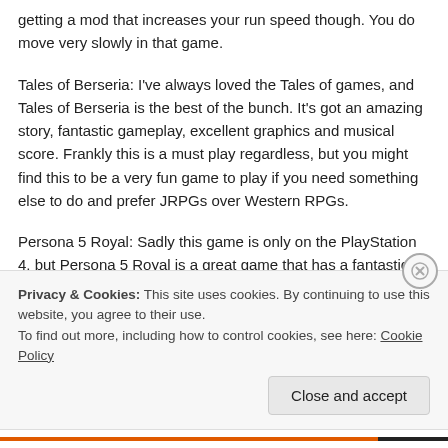getting a mod that increases your run speed though. You do move very slowly in that game.
Tales of Berseria: I've always loved the Tales of games, and Tales of Berseria is the best of the bunch. It's got an amazing story, fantastic gameplay, excellent graphics and musical score. Frankly this is a must play regardless, but you might find this to be a very fun game to play if you need something else to do and prefer JRPGs over Western RPGs.
Persona 5 Royal: Sadly this game is only on the PlayStation 4, but Persona 5 Royal is a great game that has a fantastic story and while less action oriented than most RPGs, it's still a very fun game.
Privacy & Cookies: This site uses cookies. By continuing to use this website, you agree to their use.
To find out more, including how to control cookies, see here: Cookie Policy